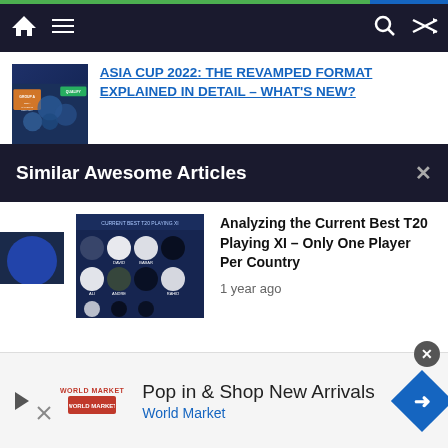Navigation bar with home, menu, search, and shuffle icons
ASIA CUP 2022: THE REVAMPED FORMAT EXPLAINED IN DETAIL – WHAT'S NEW?
Similar Awesome Articles
Analyzing the Current Best T20 Playing XI – Only One Player Per Country
1 year ago
Global T20 Canada 2019: Team of the Tournament
3 years ago
Pop in & Shop New Arrivals
World Market